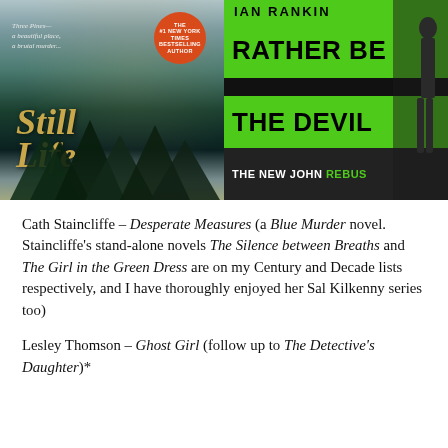[Figure (illustration): Two book covers side by side. Left: 'Still Life' by Cath Staincliffe with misty forest background and orange '#1 New York Times Bestselling Author' badge. Right: 'Rather Be the Devil – The New John Rebus' with bright green bands on black background with silhouette of a person.]
Cath Staincliffe – Desperate Measures (a Blue Murder novel. Staincliffe's stand-alone novels The Silence between Breaths and The Girl in the Green Dress are on my Century and Decade lists respectively, and I have thoroughly enjoyed her Sal Kilkenny series too)
Lesley Thomson – Ghost Girl (follow up to The Detective's Daughter)*